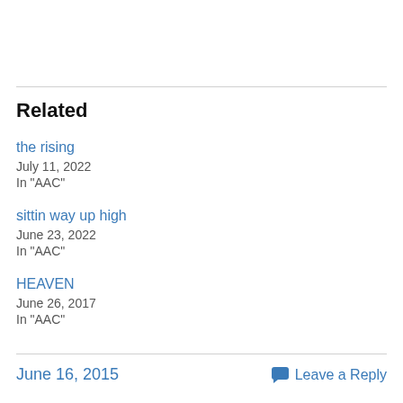Related
the rising
July 11, 2022
In "AAC"
sittin way up high
June 23, 2022
In "AAC"
HEAVEN
June 26, 2017
In "AAC"
June 16, 2015   Leave a Reply